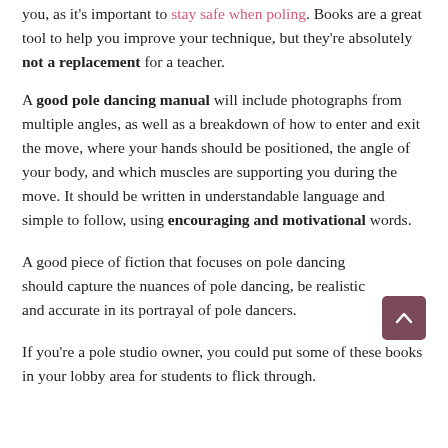you, as it's important to stay safe when poling. Books are a great tool to help you improve your technique, but they're absolutely not a replacement for a teacher.
A good pole dancing manual will include photographs from multiple angles, as well as a breakdown of how to enter and exit the move, where your hands should be positioned, the angle of your body, and which muscles are supporting you during the move. It should be written in understandable language and simple to follow, using encouraging and motivational words.
A good piece of fiction that focuses on pole dancing should capture the nuances of pole dancing, be realistic and accurate in its portrayal of pole dancers.
If you're a pole studio owner, you could put some of these books in your lobby area for students to flick through.